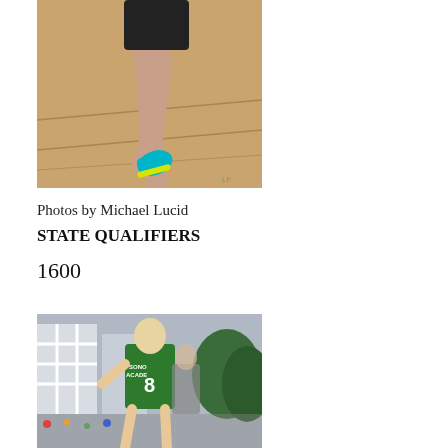[Figure (photo): Close-up photo of a runner's legs mid-stride on an orange track surface, wearing black shorts and teal running shoes]
Photos by Michael Lucid
STATE QUALIFIERS
1600
[Figure (photo): Photo of a male runner wearing a green Sonoma Academy jersey numbered 8, running in a race with other competitors visible behind him, outdoor venue with building in background]